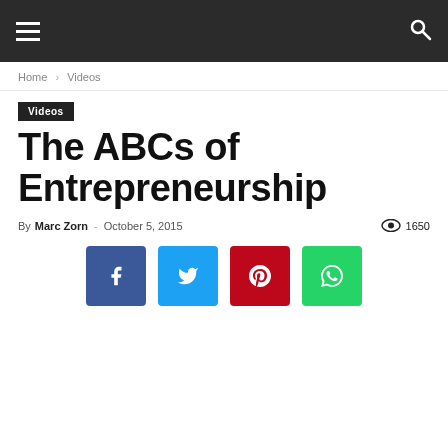Navigation bar with hamburger menu and search icon
Home › Videos
Videos
The ABCs of Entrepreneurship
By Marc Zorn - October 5, 2015  1650
[Figure (other): Social sharing buttons: Facebook, Twitter, Pinterest, WhatsApp]